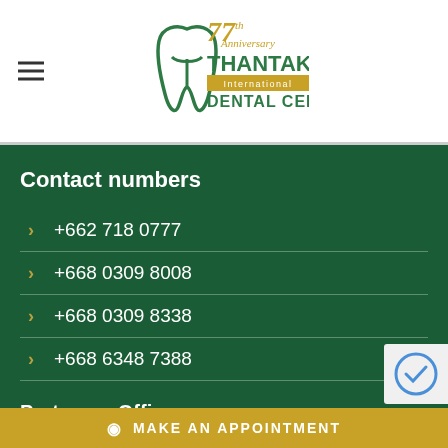[Figure (logo): 77th Anniversary Thantakit International Dental Center logo with green tooth symbol and gold/green text]
Contact numbers
+662 718 0777
+668 0309 8008
+668 0309 8338
+668 6348 7388
Pratunam Office:
MAKE AN APPOINTMENT